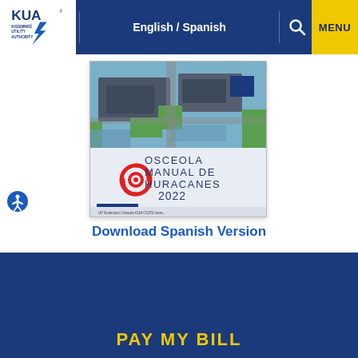KUA Kissimmee Utility Authority | English / Spanish | MENU
[Figure (illustration): Osceola Manual de Huracanes 2022 book cover showing aerial photo of flooded neighborhood and hurricane symbol, with sponsor logos at bottom]
Download Spanish Version
PAY MY BILL